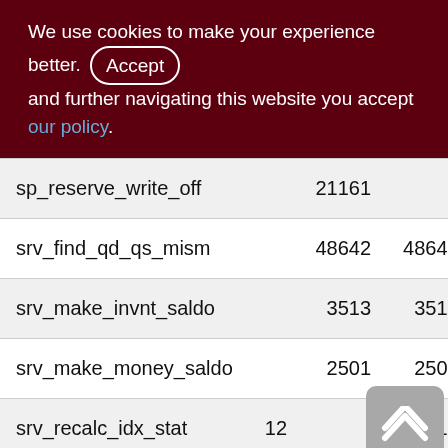We use cookies to make your experience better. By accepting and further navigating this website you accept our policy.
|  | col1 | col2 |
| --- | --- | --- |
| sp_reserve_write_off | 21161 |  |
| srv_find_qd_qs_mism | 48642 | 4864 |
| srv_make_invnt_saldo | 3513 | 351 |
| srv_make_money_saldo | 2501 | 250 |
| srv_recalc_idx_stat | 12 | 1 |
| t$perf- | 10988 | 1098 |